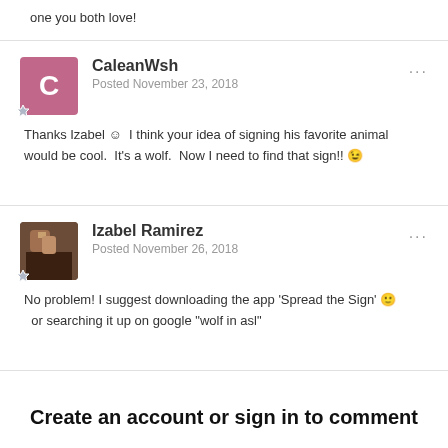one you both love!
CaleanWsh
Posted November 23, 2018
Thanks Izabel 😊  I think your idea of signing his favorite animal would be cool.  It's a wolf.  Now I need to find that sign!! 😉
Izabel Ramirez
Posted November 26, 2018
No problem! I suggest downloading the app 'Spread the Sign' 🙂 or searching it up on google "wolf in asl"
Create an account or sign in to comment